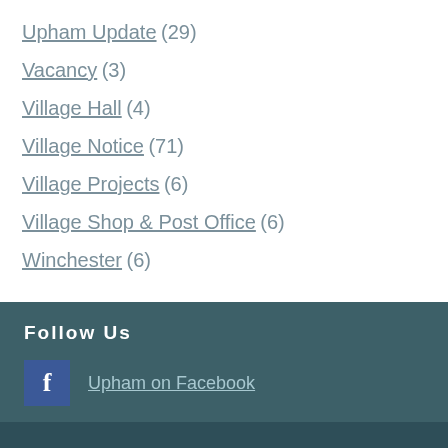Upham Update (29)
Vacancy (3)
Village Hall (4)
Village Notice (71)
Village Projects (6)
Village Shop & Post Office (6)
Winchester (6)
Follow Us
Upham on Facebook
Are you a resident?
Join our email list